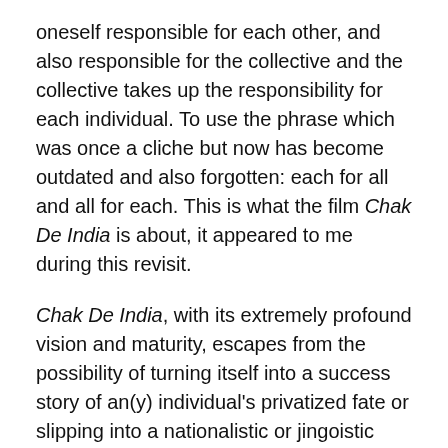oneself responsible for each other, and also responsible for the collective and the collective takes up the responsibility for each individual. To use the phrase which was once a cliche but now has become outdated and also forgotten: each for all and all for each. This is what the film Chak De India is about, it appeared to me during this revisit.
Chak De India, with its extremely profound vision and maturity, escapes from the possibility of turning itself into a success story of an(y) individual's privatized fate or slipping into a nationalistic or jingoistic trap while upholding the idea of collective.
The vision, the worldview of Chak De India says: It is only in the individual victory that a collective victory is made possible and it is in the collective victory that each